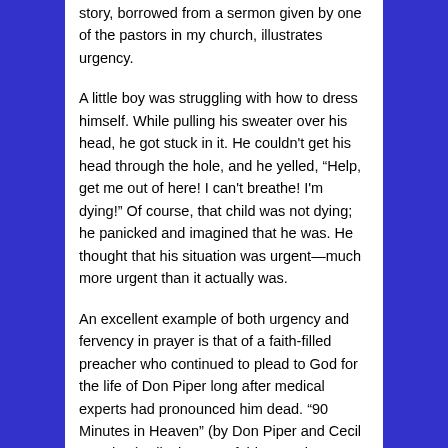story, borrowed from a sermon given by one of the pastors in my church, illustrates urgency.
A little boy was struggling with how to dress himself. While pulling his sweater over his head, he got stuck in it. He couldn't get his head through the hole, and he yelled, “Help, get me out of here! I can't breathe! I'm dying!” Of course, that child was not dying; he panicked and imagined that he was. He thought that his situation was urgent—much more urgent than it actually was.
An excellent example of both urgency and fervency in prayer is that of a faith-filled preacher who continued to plead to God for the life of Don Piper long after medical experts had pronounced him dead. “90 Minutes in Heaven” (by Don Piper and Cecil Murphey) tells the rest of this amazing